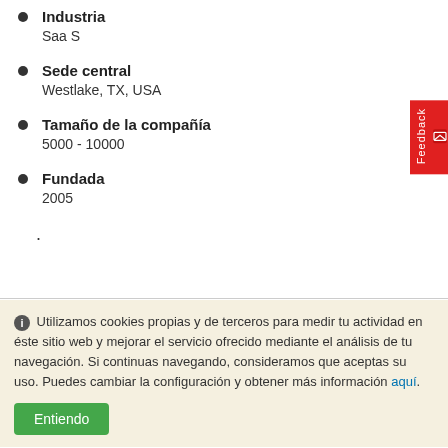Industria
Saa S
Sede central
Westlake, TX, USA
Tamaño de la compañía
5000 - 10000
Fundada
2005
.
Utilizamos cookies propias y de terceros para medir tu actividad en éste sitio web y mejorar el servicio ofrecido mediante el análisis de tu navegación. Si continuas navegando, consideramos que aceptas su uso. Puedes cambiar la configuración y obtener más información aquí.
Entiendo